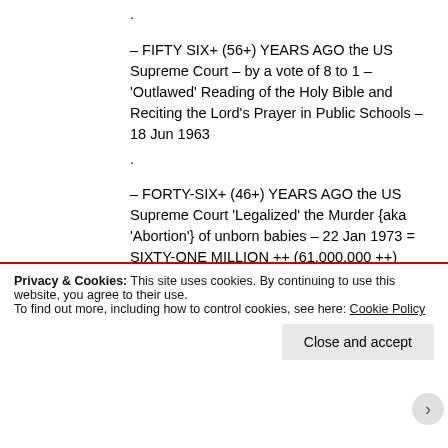. – FIFTY SIX+ (56+) YEARS AGO the US Supreme Court – by a vote of 8 to 1 – 'Outlawed' Reading of the Holy Bible and Reciting the Lord's Prayer in Public Schools – 18 Jun 1963
. – FORTY-SIX+ (46+) YEARS AGO the US Supreme Court 'Legalized' the Murder {aka 'Abortion'} of unborn babies – 22 Jan 1973 = SIXTY-ONE MILLION ++ (61,000,000 ++) LEGALIZED MURDERS – SO FAR !!!!!!!
. – FOUR + (4+) YEARS AGO the US Supreme
Privacy & Cookies: This site uses cookies. By continuing to use this website, you agree to their use. To find out more, including how to control cookies, see here: Cookie Policy